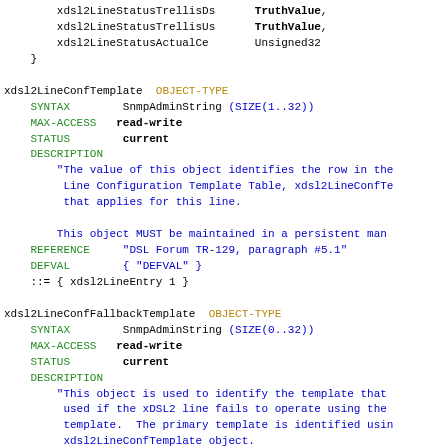xdsl2LineStatusTrellisDs   TruthValue,
    xdsl2LineStatusTrellisUs   TruthValue,
    xdsl2LineStatusActualCe    Unsigned32
}
xdsl2LineConfTemplate OBJECT-TYPE
    SYNTAX        SnmpAdminString (SIZE(1..32))
    MAX-ACCESS   read-write
    STATUS        current
    DESCRIPTION
        "The value of this object identifies the row in the
         Line Configuration Template Table, xdsl2LineConfTe
         that applies for this line.

        This object MUST be maintained in a persistent man
    REFERENCE     "DSL Forum TR-129, paragraph #5.1"
    DEFVAL        { "DEFVAL" }
    ::= { xdsl2LineEntry 1 }

xdsl2LineConfFallbackTemplate OBJECT-TYPE
    SYNTAX        SnmpAdminString (SIZE(0..32))
    MAX-ACCESS   read-write
    STATUS        current
    DESCRIPTION
        "This object is used to identify the template that
         used if the xDSL2 line fails to operate using the
         template.  The primary template is identified usin
         xdsl2LineConfTemplate object.

        For example, a xDSL2 line may fall back to a temp